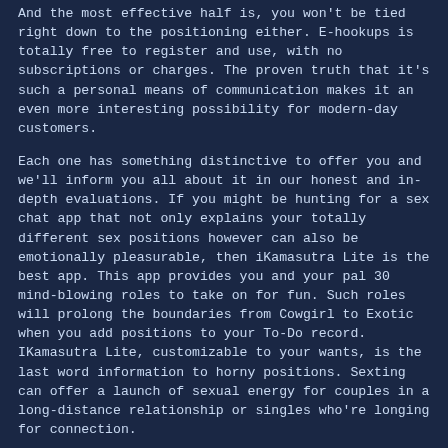And the most effective half is, you won't be tied right down to the positioning either. E-hookups is totally free to register and use, with no subscriptions or charges. The proven truth that it's such a personal means of communication makes it an even more interesting possibility for modern-day customers.
Each one has something distinctive to offer you and we'll inform you all about it in our honest and in-depth evaluations. If you might be hunting for a sex chat app that not only explains your totally different sex positions however can also be emotionally pleasurable, then iKamasutra Lite is the best app. This app provides you and your pal 30 mind-blowing roles to take on for fun. Such roles will prolong the boundaries from Cowgirl to Exotic when you add positions to your To-Do record. IKamasutra Lite, customizable to your wants, is the last word information to horny positions. Sexting can offer a launch of sexual energy for couples in a long-distance relationship or singles who're longing for connection.
I know that there in all probability is not too much to see, but this might in all probability result in two attainable problems. Badoo is certainly not for kids; its coverage requests that no photographs of anybody under 18 be posted. However, content material isn't moderated, and tons of sexual images show up on a query. You can discover a set of "like" updates